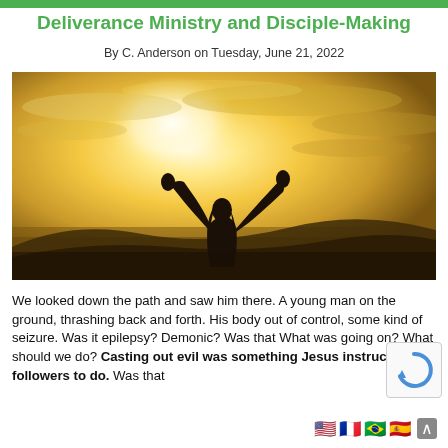Deliverance Ministry and Disciple-Making
By C. Anderson on Tuesday, June 21, 2022
[Figure (photo): Woman with arms raised toward a bright sky at sunset/sunrise, viewed from behind, standing on a hilltop with golden atmospheric lighting and clouds.]
We looked down the path and saw him there. A young man on the ground, thrashing back and forth. His body out of control, some kind of seizure. Was it epilepsy? Demonic? Was that What was going on? What should we do? Casting out evil was something Jesus instructed His followers to do. Was that